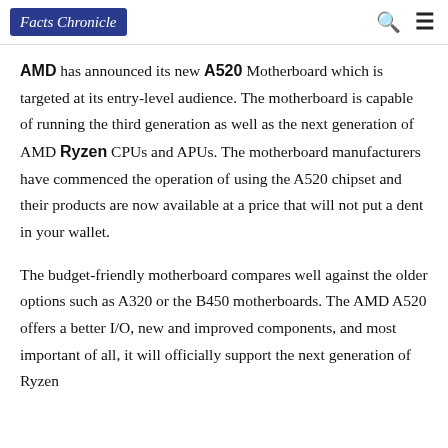Facts Chronicle
AMD has announced its new A520 Motherboard which is targeted at its entry-level audience. The motherboard is capable of running the third generation as well as the next generation of AMD Ryzen CPUs and APUs. The motherboard manufacturers have commenced the operation of using the A520 chipset and their products are now available at a price that will not put a dent in your wallet.
The budget-friendly motherboard compares well against the older options such as A320 or the B450 motherboards. The AMD A520 offers a better I/O, new and improved components, and most important of all, it will officially support the next generation of Ryzen